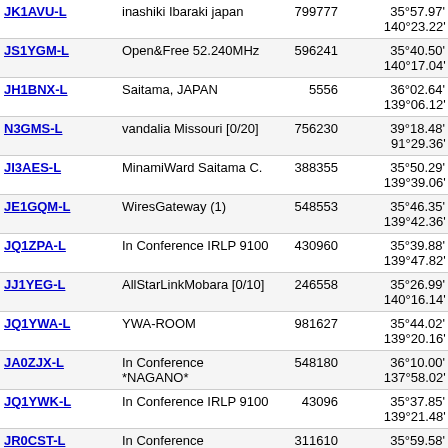| Callsign | Description | Node | Location | Grid |  |
| --- | --- | --- | --- | --- | --- |
| JK1AVU-L | inashiki Ibaraki japan | 799777 | 35°57.97' N 140°23.22' E | QM05ex | 667 |
| JS1YGM-L | Open&Free 52.240MHz | 596241 | 35°40.50' N 140°17.04' E | QM05dq | 6693 |
| JH1BNX-L | Saitama, JAPAN | 5556 | 36°02.64' N 139°06.12' E | PM96nb | 6695 |
| N3GMS-L | vandalia Missouri [0/20] | 756230 | 39°18.48' N 91°29.36' E | NM59rh | 6696 |
| JI3AES-L | MinamiWard Saitama C. | 388355 | 35°50.29' N 139°39.06' E | PM95tu | 6696 |
| JE1GQM-L | WiresGateway (1) | 548553 | 35°46.35' N 139°42.36' E | PM95us | 6699 |
| JQ1ZPA-L | In Conference IRLP 9100 | 430960 | 35°39.88' N 139°47.82' E | PM95vp | 6704 |
| JJ1YEG-L | AllStarLinkMobara [0/10] | 246558 | 35°26.99' N 140°16.14' E | QM05dk | 6708 |
| JQ1YWA-L | YWA-ROOM | 981627 | 35°44.02' N 139°20.16' E | PM95qr | 6710 |
| JA0ZJX-L | In Conference *NAGANO* | 548180 | 36°10.00' N 137°58.02' E | PM86xe | 6710 |
| JQ1YWK-L | In Conference IRLP 9100 | 43096 | 35°37.85' N 139°21.48' E | PM95qp | 6710 |
| JR0CST-L | In Conference *NAGANO* | 311610 | 35°59.58' N 138°11.40' E | PM95cx | 6711 |
| JA0KKX-L | ChinoNagano 430.98T88.5 | 219905 | 35°58.85' N 138°09.30' E | PM95bx | 6719 |
| JG0RGW-L | OKAYA CITY NAGANO | 353660 | 36°01.00' N | PM96aa | 671 |